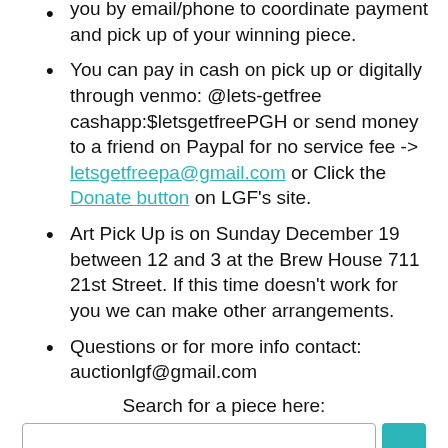A Let's Get Free Volunteer will follow up with you by email/phone to coordinate payment and pick up of your winning piece.
You can pay in cash on pick up or digitally through venmo: @lets-getfree cashapp:$letsgetfreePGH or send money to a friend on Paypal for no service fee -> letsgetfreepa@gmail.com or Click the Donate button on LGF's site.
Art Pick Up is on Sunday December 19 between 12 and 3 at the Brew House 711 21st Street. If this time doesn't work for you we can make other arrangements.
Questions or for more info contact: auctionlgf@gmail.com
Search for a piece here: